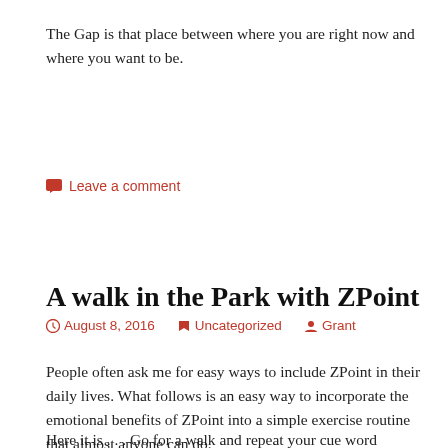The Gap is that place between where you are right now and where you want to be.
Leave a comment
A walk in the Park with ZPoint
August 8, 2016   Uncategorized   Grant
People often ask me for easy ways to include ZPoint in their daily lives. What follows is an easy way to incorporate the emotional benefits of ZPoint into a simple exercise routine that almost anyone can do.
Here it is . . . Go for a walk and repeat your cue word EVERY